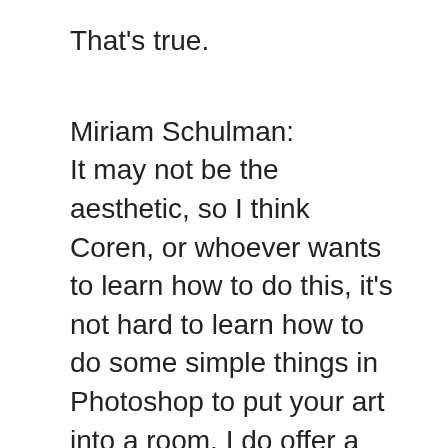That's true.
Miriam Schulman:
It may not be the aesthetic, so I think Coren, or whoever wants to learn how to do this, it's not hard to learn how to do some simple things in Photoshop to put your art into a room. I do offer a class on that, so I'll definitely put a link in the show notes.
Blenda Tyvoll:
Oh, okay.
Miriam Schulman: